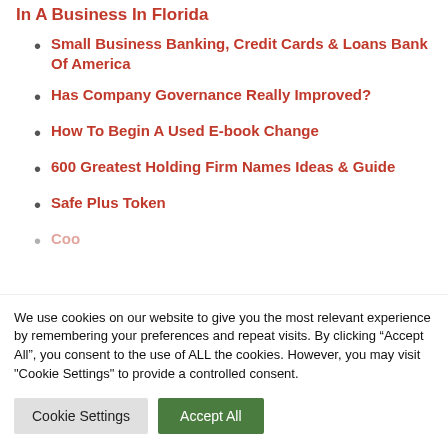What Do I Need To Know Earlier than Investing In A Business In Florida
Small Business Banking, Credit Cards & Loans Bank Of America
Has Company Governance Really Improved?
How To Begin A Used E-book Change
600 Greatest Holding Firm Names Ideas & Guide
Safe Plus Token
Coo...
We use cookies on our website to give you the most relevant experience by remembering your preferences and repeat visits. By clicking “Accept All”, you consent to the use of ALL the cookies. However, you may visit "Cookie Settings" to provide a controlled consent.